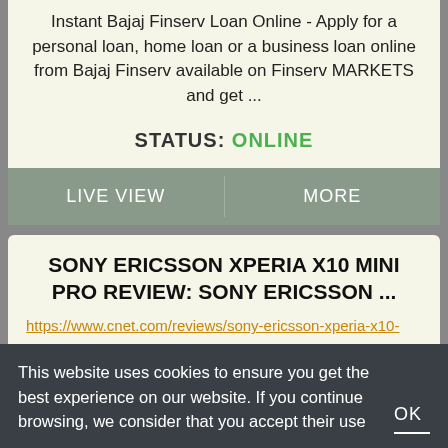Instant Bajaj Finserv Loan Online - Apply for a personal loan, home loan or a business loan online from Bajaj Finserv available on Finserv MARKETS and get ...
STATUS: ONLINE
LIVE VIEW
MORE
SONY ERICSSON XPERIA X10 MINI PRO REVIEW: SONY ERICSSON ...
https://www.cnet.com/reviews/sony-ericsson-xperia-x10-
Sony Ericsson Xperia X10 Mini Pro ... calendar after you register your Google account. You also can sync contacts
This website uses cookies to ensure you get the best experience on our website. If you continue browsing, we consider that you accept their use